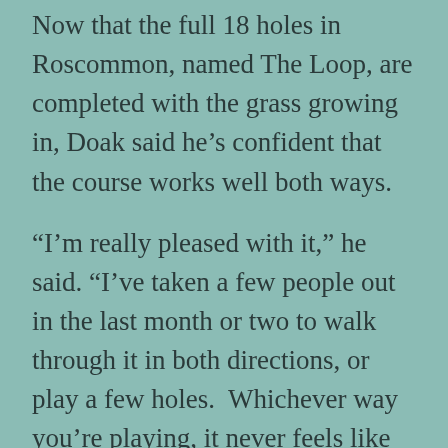Now that the full 18 holes in Roscommon, named The Loop, are completed with the grass growing in, Doak said he's confident that the course works well both ways.
“I’m really pleased with it,” he said. “I’ve taken a few people out in the last month or two to walk through it in both directions, or play a few holes.  Whichever way you’re playing, it never feels like you are going the wrong way.”
In the end, the success of the design rests with the greens.  “It’s almost like they have to be approachable from 360 degrees around them, which limits how crazy you can make any